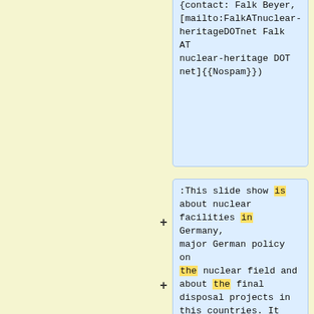{contact: Falk Beyer, [mailto:FalkATnuclear-heritageDOTnet Falk AT nuclear-heritage DOT net]{{Nospam}})
:This slide show is about nuclear facilities in Germany, major German policy on the nuclear field and about the final disposal projects in this countries. It also includes some information on planned anti-nuclear activities.
:As some details change frequently it is necessary to check before using the